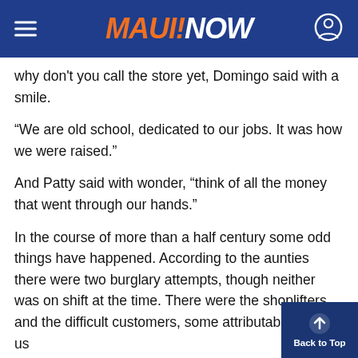MAUI!NOW
why don't you call the store yet, Domingo said with a smile.
“We are old school, dedicated to our jobs. It was how we were raised.”
And Patty said with wonder, “think of all the money that went through our hands.”
In the course of more than a half century some odd things have happened. According to the aunties there were two burglary attempts, though neither was on shift at the time. There were the shoplifters and the difficult customers, some attributable to drug us
But mostly it has been a river of memories.